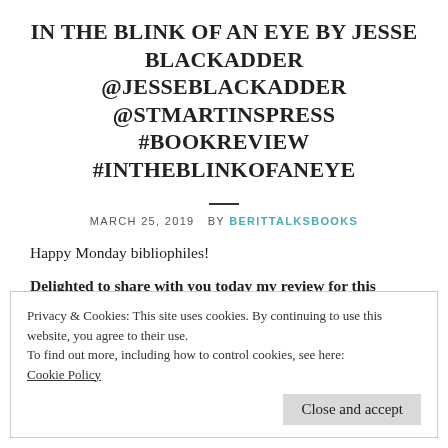IN THE BLINK OF AN EYE BY JESSE BLACKADDER @JESSEBLACKADDER @STMARTINSPRESS #BOOKREVIEW #INTHEBLINKOFANEYE
MARCH 25, 2019  BY BERITTALKSBOOKS
Happy Monday bibliophiles!
Delighted to share with you today my review for this emotional story guaranteed to pull at your heartstrings!
Privacy & Cookies: This site uses cookies. By continuing to use this website, you agree to their use.
To find out more, including how to control cookies, see here:
Cookie Policy
Close and accept